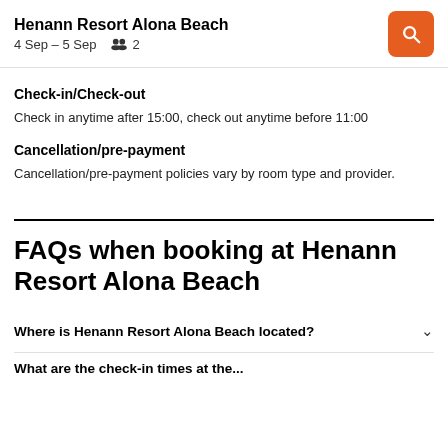Henann Resort Alona Beach — 4 Sep – 5 Sep   2
Check-in/Check-out
Check in anytime after 15:00, check out anytime before 11:00
Cancellation/pre-payment
Cancellation/pre-payment policies vary by room type and provider.
FAQs when booking at Henann Resort Alona Beach
Where is Henann Resort Alona Beach located?
What are the check-in times at the...